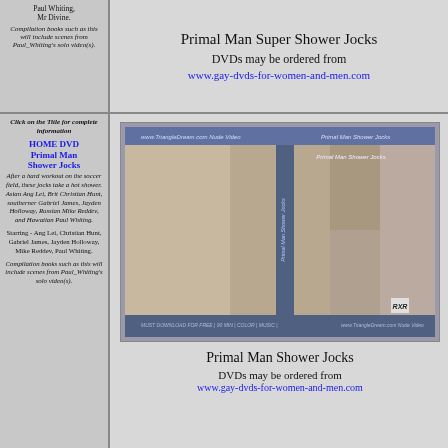Paul Whiting, Mr Divine.
Compilation books such as this will include scenes from Paul_Whiting's solo video(s).
Primal Man Super Shower Jocks
DVDs may be ordered from www.gay-dvds-for-women-and-men.com
Click on the Title for complete information
HOME DVD
Primal Man Shower Jocks
After a hard workout on the soccer field, these jocks take a hot shower. Asian Ang Lei, Brit Christian Hunt, southerner Gabriel James, Jayden Holloway, Russian Mike Reddev, and Hawaiian Paul Whiting.
Starring - Ang Lei, Christian Hunt, Gabriel James, Jayden Holloway, Mike Reddev, Paul Whiting.
Compilation books such as this will include scenes from Paul_Whiting's solo video(s).
[Figure (photo): DVD cover for Primal Man Shower Jocks showing multiple men in shower scenes]
Primal Man Shower Jocks
DVDs may be ordered from www.gay-dvds-for-women-and-men.com